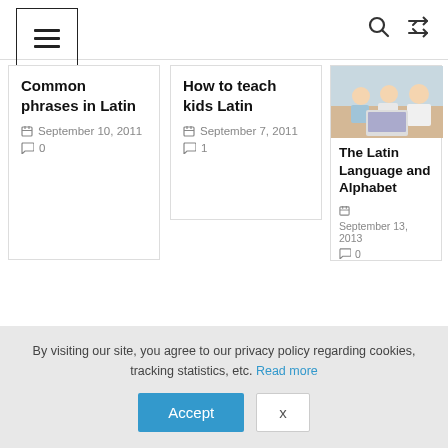Navigation header with hamburger menu, search icon, and shuffle icon
Common phrases in Latin
September 10, 2011  0
How to teach kids Latin
September 7, 2011  1
[Figure (photo): Photo of a mother with two young children looking at a laptop/tablet]
The Latin Language and Alphabet
September 13, 2013  0
Leave a Reply
By visiting our site, you agree to our privacy policy regarding cookies, tracking statistics, etc. Read more
Accept  X